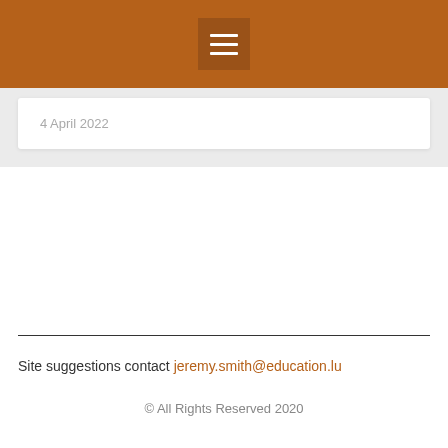Menu
4 April 2022
Site suggestions contact jeremy.smith@education.lu
© All Rights Reserved 2020